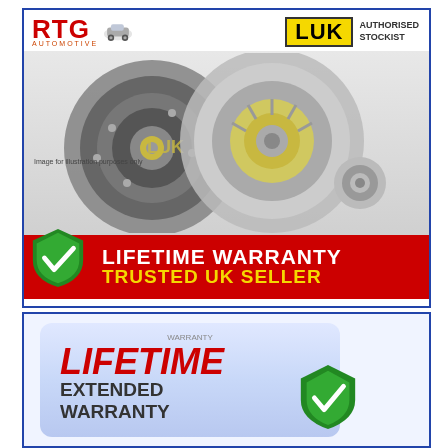[Figure (photo): RTG Automotive and LUK Authorised Stockist product image showing a clutch kit (clutch disc, pressure plate, and release bearing) on grey background with red warranty banner at bottom saying LIFETIME WARRANTY and TRUSTED UK SELLER with a green shield/checkmark]
[Figure (photo): Lifetime Extended Warranty badge/graphic on light blue rounded rectangle background with a green shield checkmark icon to the right]